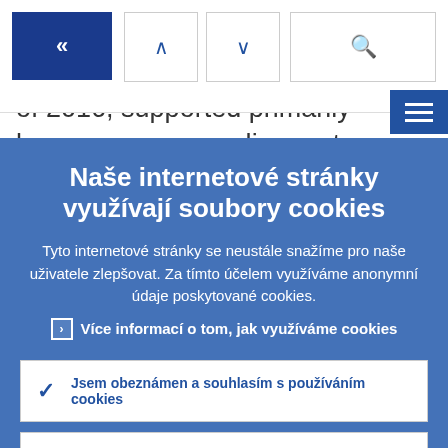[Figure (screenshot): Navigation bar with back button (double left arrow), up arrow, down arrow, and search icon, plus hamburger menu button in dark blue]
of 2016, supported primarily by consumer spending, net trade and a turnaround in the
Naše internetové stránky využívají soubory cookies
Tyto internetové stránky se neustále snažíme pro naše uživatele zlepšovat. Za tímto účelem využíváme anonymní údaje poskytované cookies.
› Více informací o tom, jak využíváme cookies
Jsem obeznámen a souhlasím s používáním cookies
Nesouhlasím s používáním cookies.